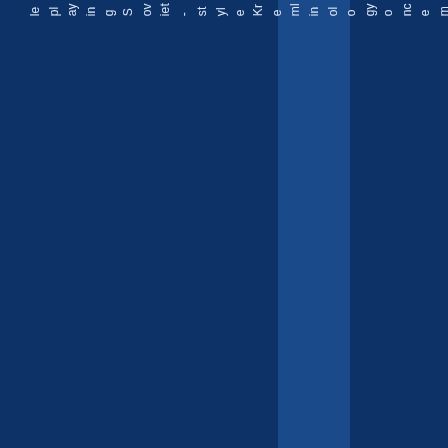le playing Soviet-style Kremlinology once more. Is Putin g